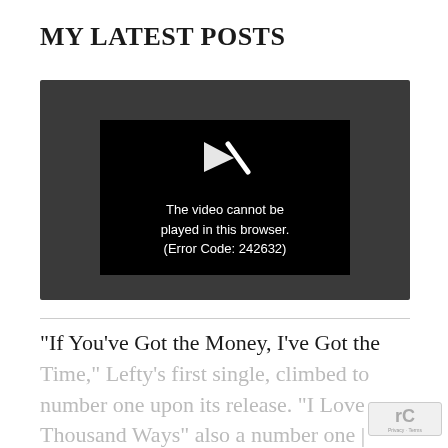MY LATEST POSTS
[Figure (screenshot): Video player showing error message: 'The video cannot be played in this browser. (Error Code: 242632)' on a dark grey background with a black inner player area and a white play/broken icon.]
“If You’ve Got the Money, I’ve Got the Time,” Lefty’s first single, climbed to number one upon its release. “I Love [You] a Thousand Ways” also a number one |